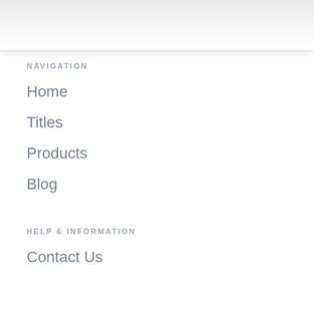NAVIGATION
Home
Titles
Products
Blog
HELP & INFORMATION
Contact Us